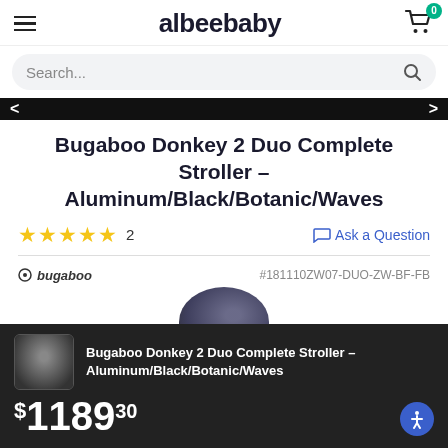albeebaby
Search...
Bugaboo Donkey 2 Duo Complete Stroller – Aluminum/Black/Botanic/Waves
★★★★★ 2   Ask a Question
bugaboo   #181110ZW07-DUO-ZW-BF-FB
[Figure (photo): Product image of the Bugaboo Donkey 2 Duo stroller partially visible at bottom with dark/navy fabric.]
Bugaboo Donkey 2 Duo Complete Stroller – Aluminum/Black/Botanic/Waves $1189.30